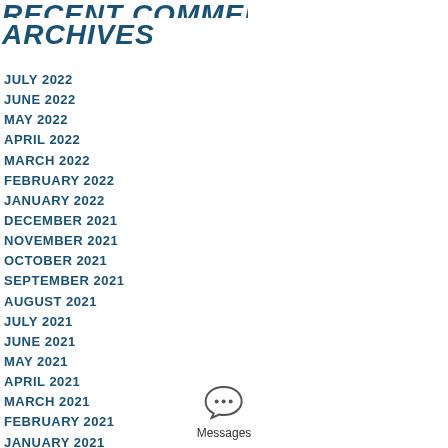RECENT COMMENTS
ARCHIVES
JULY 2022
JUNE 2022
MAY 2022
APRIL 2022
MARCH 2022
FEBRUARY 2022
JANUARY 2022
DECEMBER 2021
NOVEMBER 2021
OCTOBER 2021
SEPTEMBER 2021
AUGUST 2021
JULY 2021
JUNE 2021
MAY 2021
APRIL 2021
MARCH 2021
FEBRUARY 2021
JANUARY 2021
[Figure (illustration): Messages chat bubble icon with three dots, labeled 'Messages']